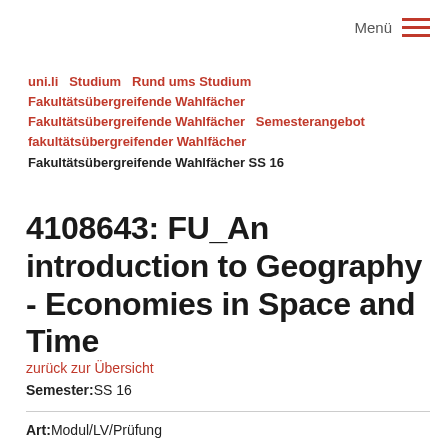Menü
uni.li   Studium   Rund ums Studium   Fakultätsübergreifende Wahlfächer   Fakultätsübergreifende Wahlfächer   Semesterangebot fakultätsübergreifender Wahlfächer   Fakultätsübergreifende Wahlfächer SS 16
4108643: FU_An introduction to Geography - Economies in Space and Time
zurück zur Übersicht
Semester: SS 16
Art: Modul/LV/Prüfung